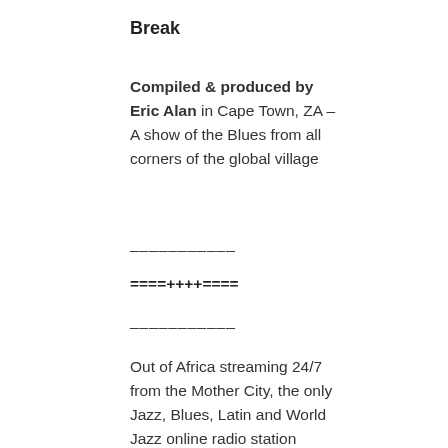Break
Compiled & produced by Eric Alan in Cape Town, ZA – A show of the Blues from all corners of the global village
___________
====++++====
___________
Out of Africa streaming 24/7 from the Mother City, the only Jazz, Blues, Latin and World Jazz online radio station available across boarders to all continents to music lovers all day, everyday.
Log into All Jazz Radio and